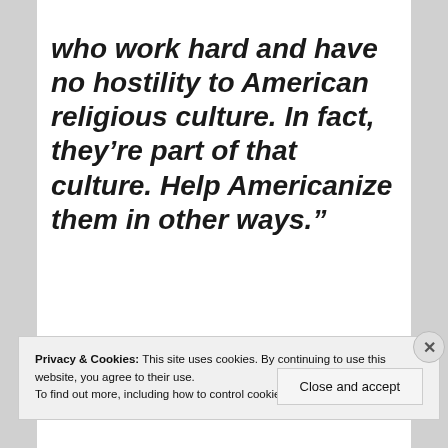who work hard and have no hostility to American religious culture. In fact, they’re part of that culture. Help Americanize them in other ways.”
Privacy & Cookies: This site uses cookies. By continuing to use this website, you agree to their use.
To find out more, including how to control cookies, see here: Cookie Policy
Close and accept